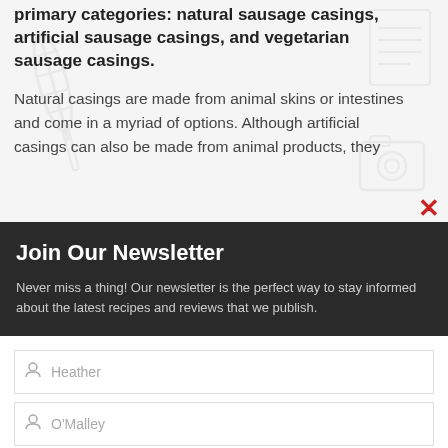primary categories: natural sausage casings, artificial sausage casings, and vegetarian sausage casings.
Natural casings are made from animal skins or intestines and come in a myriad of options. Although artificial casings can also be made from animal products, they
Join Our Newsletter
Never miss a thing! Our newsletter is the perfect way to stay informed about the latest recipes and reviews that we publish.
Heather [first name field]
O'Malley [last name field]
heather@gmail.com [email field]
Submit